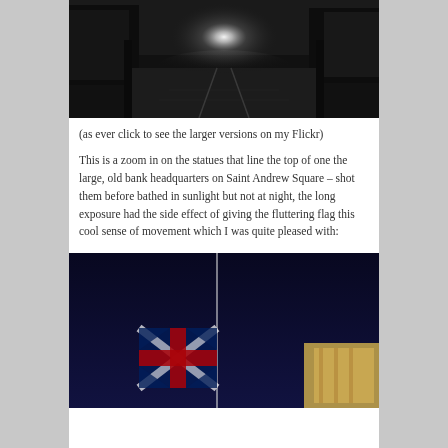[Figure (photo): Black and white photograph of a rain-slicked city street at night, viewed from street level with bright light in the distance, tram tracks or road markings visible.]
(as ever click to see the larger versions on my Flickr)
This is a zoom in on the statues that line the top of one the large, old bank headquarters on Saint Andrew Square – shot them before bathed in sunlight but not at night, the long exposure had the side effect of giving the fluttering flag this cool sense of movement which I was quite pleased with:
[Figure (photo): Night photograph of a Union Jack flag on a flagpole against a deep dark blue sky, with illuminated building stonework visible at lower right.]